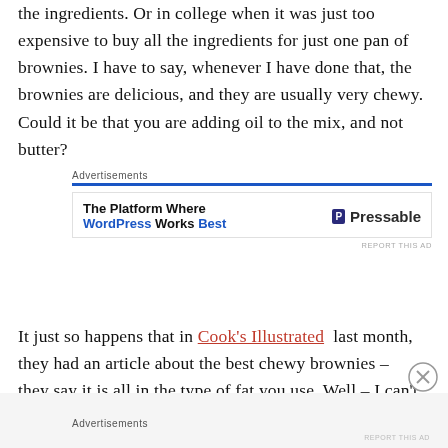the ingredients. Or in college when it was just too expensive to buy all the ingredients for just one pan of brownies. I have to say, whenever I have done that, the brownies are delicious, and they are usually very chewy. Could it be that you are adding oil to the mix, and not butter?
[Figure (other): Advertisement banner: 'The Platform Where WordPress Works Best' with Pressable logo]
It just so happens that in Cook's Illustrated last month, they had an article about the best chewy brownies – they say it is all in the type of fat you use. Well – I can't refute them – I made their version, and they were
[Figure (other): Advertisement banner area at bottom of page]